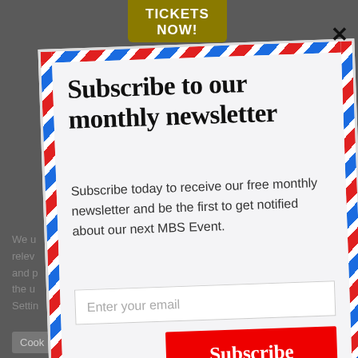[Figure (screenshot): Website screenshot background with dark grey overlay, showing partially visible text about cookies and a cookie settings button]
[Figure (infographic): Airmail-bordered newsletter subscription modal popup with title, body text, email input field, subscribe button, and spam disclaimer]
Subscribe to our monthly newsletter
Subscribe today to receive our free monthly newsletter and be the first to get notified about our next MBS Event.
Enter your email
Subscribe
And don't worry, we hate spam too! You can unsubscribe at anytime.